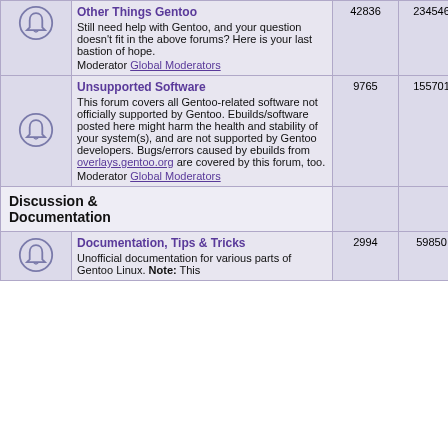|  | Forum | Topics | Posts | Last Post |
| --- | --- | --- | --- | --- |
| [icon] | Other Things Gentoo
Still need help with Gentoo, and your question doesn't fit in the above forums? Here is your last bastion of hope.
Moderator Global Moderators | 42836 | 234546 | Wed Aug 31, 2022 2:04 am
sam_ |
| [icon] | Unsupported Software
This forum covers all Gentoo-related software not officially supported by Gentoo. Ebuilds/software posted here might harm the health and stability of your system(s), and are not supported by Gentoo developers. Bugs/errors caused by ebuilds from overlays.gentoo.org are covered by this forum, too.
Moderator Global Moderators | 9765 | 155701 | Sun Aug 28, 2022 3:39 pm
fedeliallalinea |
| [section] | Discussion & Documentation |  |  |  |
| [icon] | Documentation, Tips & Tricks
Unofficial documentation for various parts of Gentoo Linux. Note: This | 2994 | 59850 | Mon Aug 29, 2022 8:42 pm
z33d3vill |